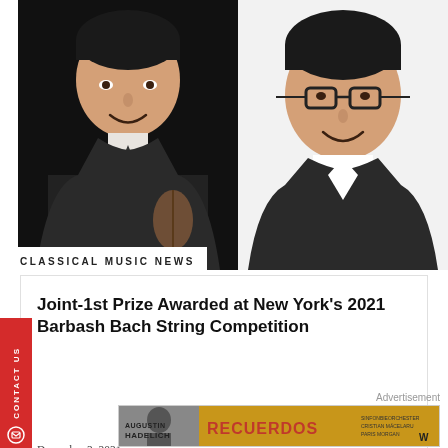[Figure (photo): Headshot of young Asian man in dark suit holding violin, against black background]
[Figure (photo): Headshot of young Asian man with glasses and white shirt, against white/light background]
CLASSICAL MUSIC NEWS
Joint-1st Prize Awarded at New York's 2021 Barbash Bach String Competition
December 2, 2021
Advertisement
[Figure (illustration): Advertisement banner: Augustin Hadelich concert poster with golden/orange background and red text reading RECUERDOS]